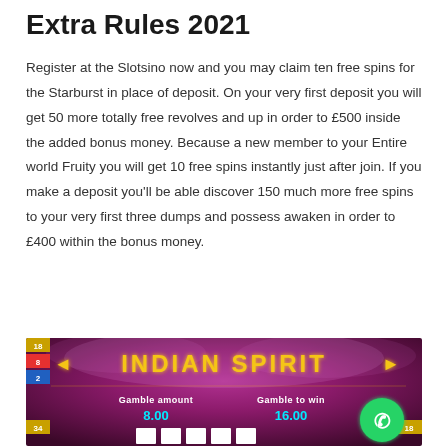Extra Rules 2021
Register at the Slotsino now and you may claim ten free spins for the Starburst in place of deposit. On your very first deposit you will get 50 more totally free revolves and up in order to £500 inside the added bonus money. Because a new member to your Entire world Fruity you will get 10 free spins instantly just after join. If you make a deposit you'll be able discover 150 much more free spins to your very first three dumps and possess awaken in order to £400 within the bonus money.
[Figure (screenshot): Screenshot of an Indian Spirit slot game showing 'Gamble amount 8.00' and 'Gamble to win 16.00' with a purple/magenta background and yellow title text. A WhatsApp button overlay appears in the bottom right corner.]